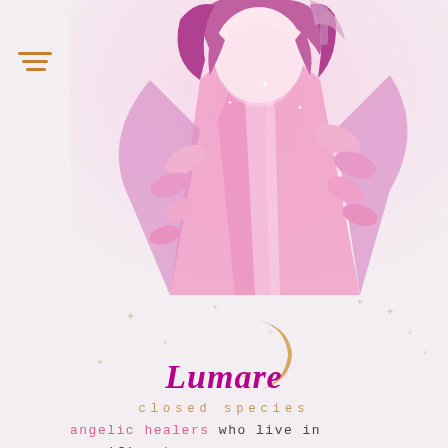[Figure (illustration): Pink anime-style angelic character with flowing hair, pink robes, and pink leaves/foliage, partially visible at top of page]
Lumare
closed species
angelic healers who live in magnificent sanctuaries in the sky. these beings bring